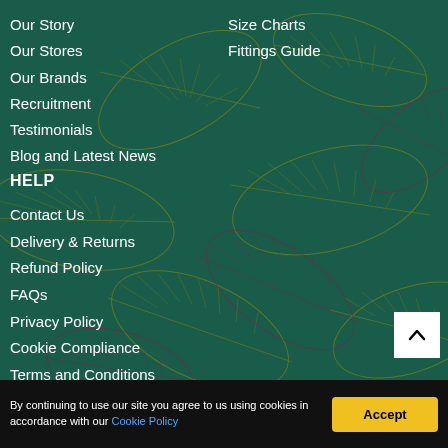Our Story
Our Stores
Our Brands
Recruitment
Testimonials
Blog and Latest News
Size Charts
Fittings Guide
HELP
Contact Us
Delivery & Returns
Refund Policy
FAQs
Privacy Policy
Cookie Compliance
Terms and Conditions
STAY CONNECTED
By continuing to use our site you agree to us using cookies in accordance with our Cookie Policy
Accept